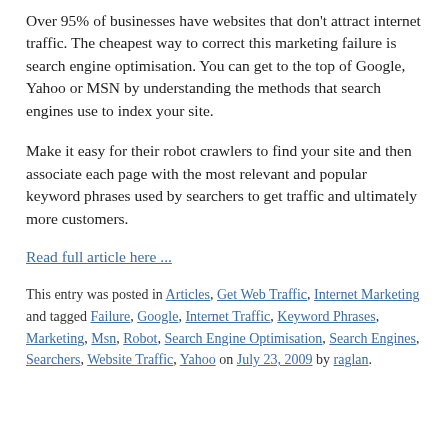Over 95% of businesses have websites that don't attract internet traffic. The cheapest way to correct this marketing failure is search engine optimisation. You can get to the top of Google, Yahoo or MSN by understanding the methods that search engines use to index your site.
Make it easy for their robot crawlers to find your site and then associate each page with the most relevant and popular keyword phrases used by searchers to get traffic and ultimately more customers.
Read full article here ...
This entry was posted in Articles, Get Web Traffic, Internet Marketing and tagged Failure, Google, Internet Traffic, Keyword Phrases, Marketing, Msn, Robot, Search Engine Optimisation, Search Engines, Searchers, Website Traffic, Yahoo on July 23, 2009 by raglan.